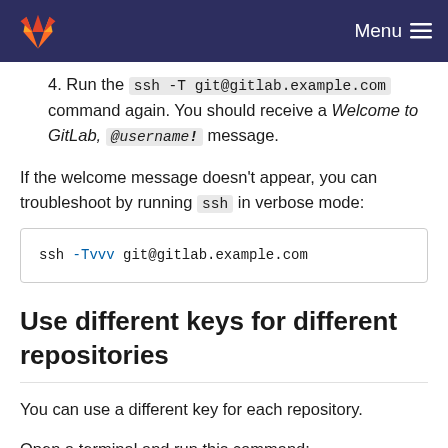GitLab navigation header with logo and Menu button
4. Run the ssh -T git@gitlab.example.com command again. You should receive a Welcome to GitLab, @username! message.
If the welcome message doesn't appear, you can troubleshoot by running ssh in verbose mode:
ssh -Tvvv git@gitlab.example.com
Use different keys for different repositories
You can use a different key for each repository.
Open a terminal and run this command:
(code block beginning, cut off)